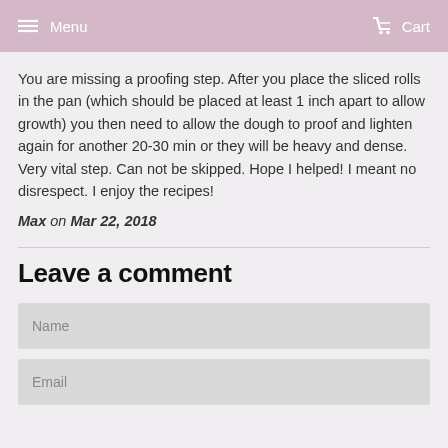Menu  Cart
You are missing a proofing step. After you place the sliced rolls in the pan (which should be placed at least 1 inch apart to allow growth) you then need to allow the dough to proof and lighten again for another 20-30 min or they will be heavy and dense. Very vital step. Can not be skipped. Hope I helped! I meant no disrespect. I enjoy the recipes!
Max on Mar 22, 2018
Leave a comment
Name
Email